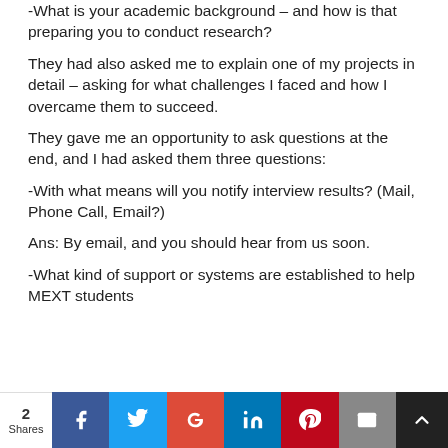-What is your academic background – and how is that preparing you to conduct research?
They had also asked me to explain one of my projects in detail – asking for what challenges I faced and how I overcame them to succeed.
They gave me an opportunity to ask questions at the end, and I had asked them three questions:
-With what means will you notify interview results? (Mail, Phone Call, Email?)
Ans: By email, and you should hear from us soon.
-What kind of support or systems are established to help MEXT students
2 Shares | Facebook | Twitter | Google+ | LinkedIn | Pinterest | Email | Crown